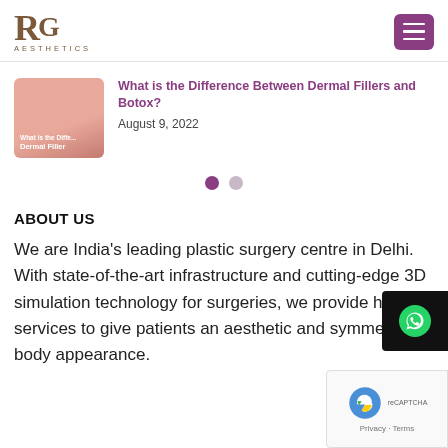[Figure (logo): RG Aesthetics logo — stylized RG letters in brown serif font with AESTHETICS text below]
[Figure (other): Purple hamburger menu button in top right corner]
[Figure (photo): Thumbnail image with salmon/pink background and text 'Dermal Filler' for blog article]
What is the Difference Between Dermal Fillers and Botox?
August 9, 2022
[Figure (other): Pagination dots — one filled purple, one grey]
ABOUT US
We are India's leading plastic surgery centre in Delhi. With state-of-the-art infrastructure and cutting-edge 3D simulation technology for surgeries, we provide high-e services to give patients an aesthetic and symmetric body appearance.
[Figure (other): WhatsApp icon button overlay on right side]
[Figure (other): reCAPTCHA widget overlay in bottom right corner showing Privacy - Terms]